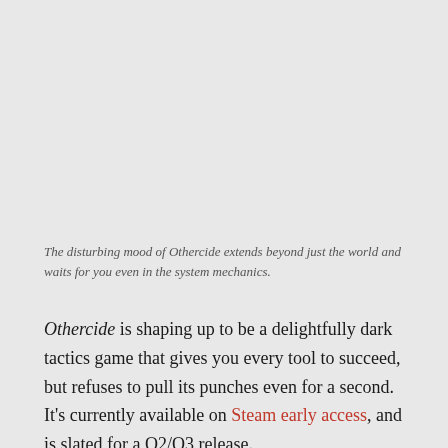The disturbing mood of Othercide extends beyond just the world and waits for you even in the system mechanics.
Othercide is shaping up to be a delightfully dark tactics game that gives you every tool to succeed, but refuses to pull its punches even for a second. It's currently available on Steam early access, and is slated for a Q2/Q3 release.